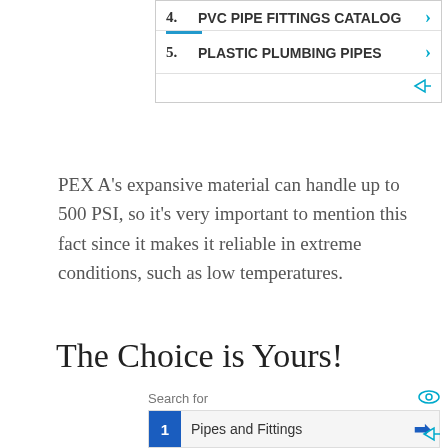4. PVC PIPE FITTINGS CATALOG
5. PLASTIC PLUMBING PIPES
PEX A's expansive material can handle up to 500 PSI, so it's very important to mention this fact since it makes it reliable in extreme conditions, such as low temperatures.
The Choice is Yours!
1 Pipes and Fittings
2 Pipe Size Chart